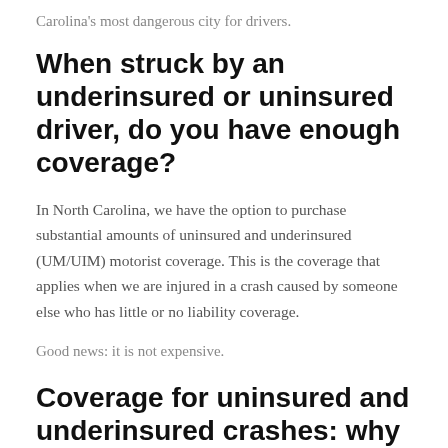Carolina's most dangerous city for drivers.
When struck by an underinsured or uninsured driver, do you have enough coverage?
In North Carolina, we have the option to purchase substantial amounts of uninsured and underinsured (UM/UIM) motorist coverage. This is the coverage that applies when we are injured in a crash caused by someone else who has little or no liability coverage.
Good news: it is not expensive.
Coverage for uninsured and underinsured crashes: why you